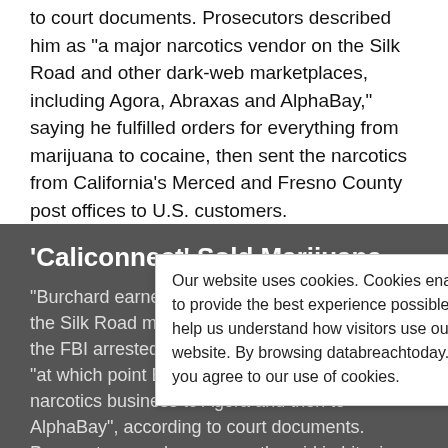to court documents. Prosecutors described him as "a major narcotics vendor on the Silk Road and other dark-web marketplaces, including Agora, Abraxas and AlphaBay," saying he fulfilled orders for everything from marijuana to cocaine, then sent the narcotics from California's Merced and Fresno County post offices to U.S. customers.
'Caliconnect' Sold Marijuana
"Burchard earned in excess of $1.4 million on the Silk Road marketplace was closed" - when the FBI arrested its founder in October 2013 - "at which point Burchard transferred his narcotics business to Agora and then to AlphaBay", according to court documents. Prosecutors say he was mostly paid in bitcoins.
Burchard was arrested in March 2016. Last August, he pleaded guilty to conspiracy to distribute and to possess
Our website uses cookies. Cookies enable us to provide the best experience possible and help us understand how visitors use our website. By browsing databreachtoday.com, you agree to our use of cookies.